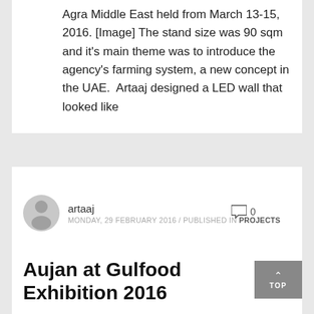Agra Middle East held from March 13-15, 2016. [Image] The stand size was 90 sqm and it's main theme was to introduce the agency's farming system, a new concept in the UAE.  Artaaj designed a LED wall that looked like
artaaj
MONDAY, 29 FEBRUARY 2016 / PUBLISHED IN PROJECTS
Aujan at Gulfood Exhibition 2016